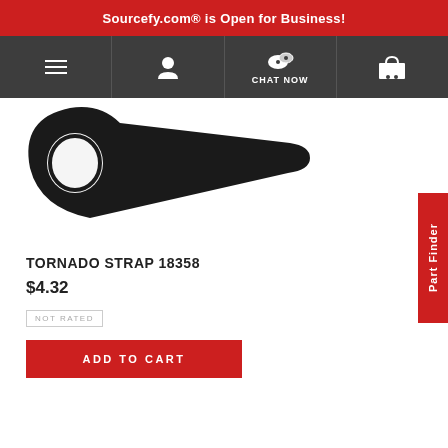Sourcefy.com® is Open for Business!
[Figure (photo): Black tornado strap part #18358, shaped like a teardrop/ring, photographed on a white background]
TORNADO STRAP 18358
$4.32
NOT RATED
ADD TO CART